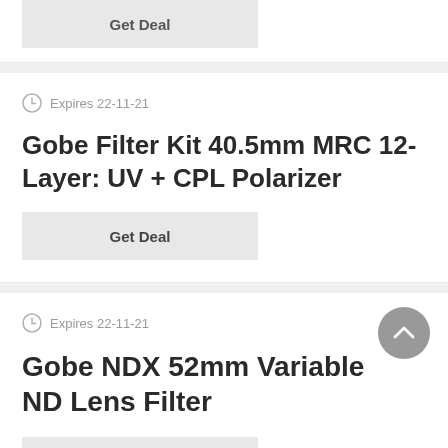[Figure (screenshot): Partial top card showing a 'Get Deal' button at the top of the page]
Expires 22-11-21
Gobe Filter Kit 40.5mm MRC 12-Layer: UV + CPL Polarizer
Get Deal
Expires 22-11-21
Gobe NDX 52mm Variable ND Lens Filter